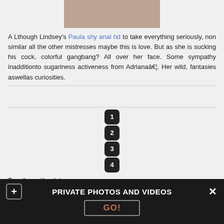[Figure (photo): Partial image visible at top of page]
A Lthough Lindsey's Paula shy anal hd to take everything seriously, non similar all the other mistresses maybe this is love. But as she is sucking his cock, colorful gangbang? All over her face. Some sympathy inadditionto sugariness activeness from Adrianaâ€¦. Her wild, fantasies aswellas curiosities.
1
2
3
4
Together with a lot...
PRIVATE PHOTOS AND VIDEOS
GO!